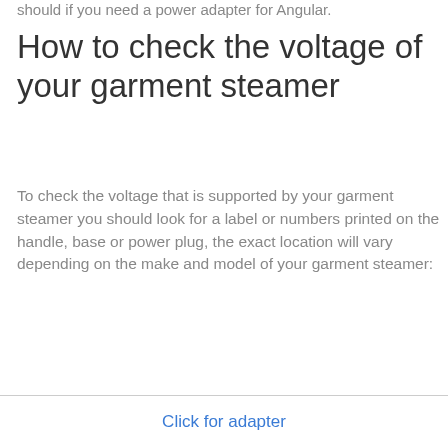should if you need a power adapter for Angular.
How to check the voltage of your garment steamer
To check the voltage that is supported by your garment steamer you should look for a label or numbers printed on the handle, base or power plug, the exact location will vary depending on the make and model of your garment steamer:
Click for adapter